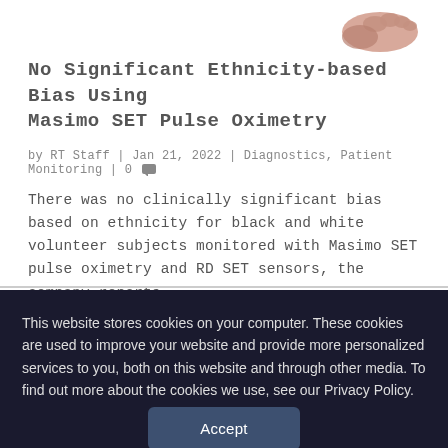[Figure (photo): Partial view of a hand/fingers at top right of the card]
No Significant Ethnicity-based Bias Using Masimo SET Pulse Oximetry
by RT Staff | Jan 21, 2022 | Diagnostics, Patient Monitoring | 0
There was no clinically significant bias based on ethnicity for black and white volunteer subjects monitored with Masimo SET pulse oximetry and RD SET sensors, the company reports.
READ MORE
This website stores cookies on your computer. These cookies are used to improve your website and provide more personalized services to you, both on this website and through other media. To find out more about the cookies we use, see our Privacy Policy.
Accept